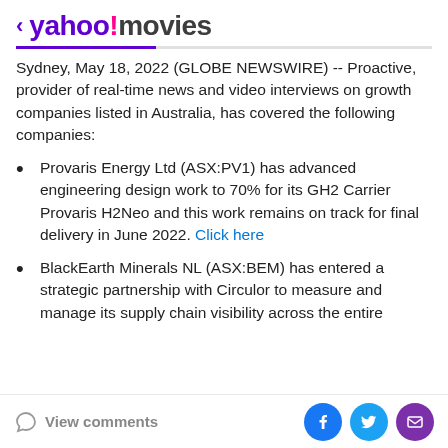< yahoo!movies
Sydney, May 18, 2022 (GLOBE NEWSWIRE) -- Proactive, provider of real-time news and video interviews on growth companies listed in Australia, has covered the following companies:
Provaris Energy Ltd (ASX:PV1) has advanced engineering design work to 70% for its GH2 Carrier Provaris H2Neo and this work remains on track for final delivery in June 2022. Click here
BlackEarth Minerals NL (ASX:BEM) has entered a strategic partnership with Circulor to measure and manage its supply chain visibility across the entire
View comments